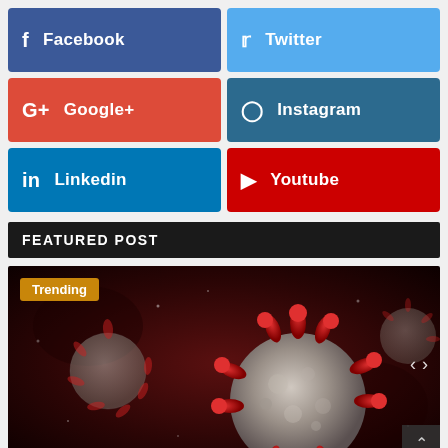[Figure (infographic): Social media share buttons grid: Facebook (blue), Twitter (light blue), Google+ (red-orange), Instagram (dark blue), LinkedIn (medium blue), YouTube (red)]
FEATURED POST
[Figure (photo): 3D render of coronavirus particles on dark red background, close-up of one large virus particle in center with red spike proteins, smaller blurred particles in background. 'Trending' badge in top-left corner.]